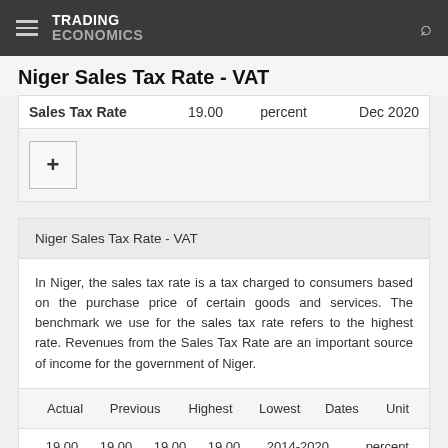TRADING ECONOMICS
Niger Sales Tax Rate - VAT
|  |  |  |  |
| --- | --- | --- | --- |
| Sales Tax Rate | 19.00 | percent | Dec 2020 |
Niger Sales Tax Rate - VAT
In Niger, the sales tax rate is a tax charged to consumers based on the purchase price of certain goods and services. The benchmark we use for the sales tax rate refers to the highest rate. Revenues from the Sales Tax Rate are an important source of income for the government of Niger.
| Actual | Previous | Highest | Lowest | Dates | Unit |
| --- | --- | --- | --- | --- | --- |
| 19.00 | 19.00 | 19.00 | 19.00 | 2014-2020 | percent |